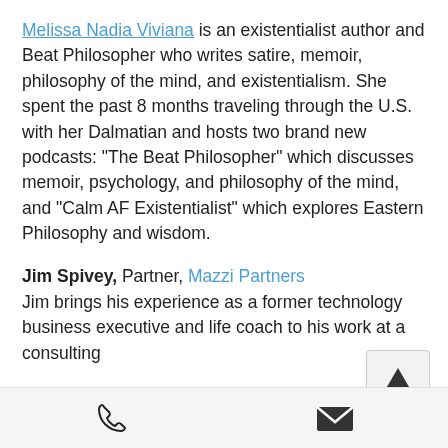Melissa Nadia Viviana is an existentialist author and Beat Philosopher who writes satire, memoir, philosophy of the mind, and existentialism. She spent the past 8 months traveling through the U.S. with her Dalmatian and hosts two brand new podcasts: "The Beat Philosopher" which discusses memoir, psychology, and philosophy of the mind, and "Calm AF Existentialist" which explores Eastern Philosophy and wisdom.
Jim Spivey, Partner, Mazzi Partners Jim brings his experience as a former technology business executive and life coach to his work at a consulting